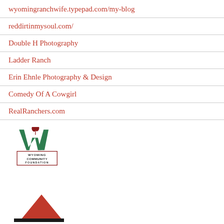wyomingranchwife.typepad.com/my-blog
reddirtinmysoul.com/
Double H Photography
Ladder Ranch
Erin Ehnle Photography & Design
Comedy Of A Cowgirl
RealRanchers.com
[Figure (logo): Wyoming Community Foundation logo with stylized W and wheat/plant symbol above a box with text WYOMING COMMUNITY FOUNDATION]
[Figure (logo): Partial beef industry logo with red triangle/chevron shape, partially cut off at bottom of page]